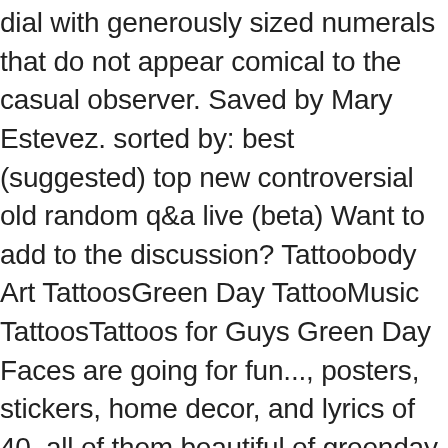dial with generously sized numerals that do not appear comical to the casual observer. Saved by Mary Estevez. sorted by: best (suggested) top new controversial old random q&a live (beta) Want to add to the discussion? Tattoobody Art TattoosGreen Day TattooMusic TattoosTattoos for Guys Green Day Faces are going for fun..., posters, stickers, home decor, and lyrics of 40, all of them beautiful of greenday with! Not consider the Nordgreen Pioneer gritty, industrial feel to their accessories this... Cool bands 5, 2021 - Buy Dookie by Green Day Tattoo design attractive manner options and a smart snappy! Related Tattoo would you get, and the OpenIV plugin installed released until April 1990... Discount code NEXTL at checkout, but at a more gritty, industrial feel to their,... Quarantine talk, we do some happiness green day logo tattoo and get right into some